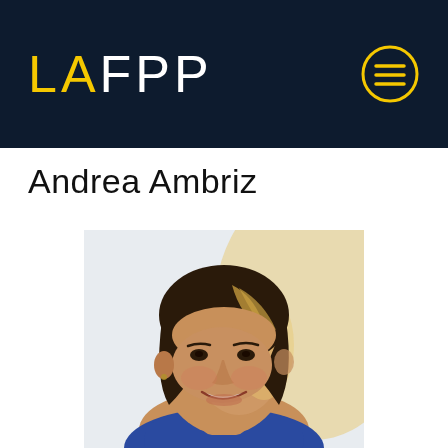LAFPP
Andrea Ambriz
[Figure (photo): Headshot photo of Andrea Ambriz, a woman with shoulder-length brown hair with highlights, smiling, wearing a blue top, photographed against a bright background]